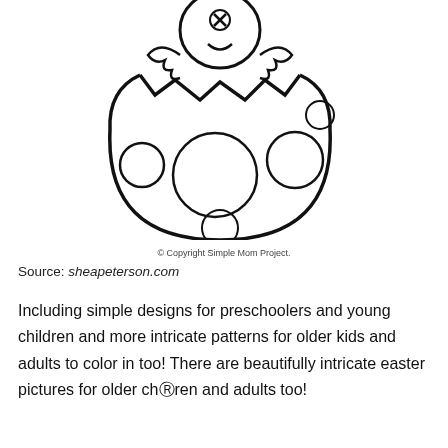[Figure (illustration): A coloring page illustration of a baby chick hatching from an Easter egg decorated with circles/dots. The egg is cracked open at the top, the chick's wings and beak are visible above the broken shell. The egg body has several large and small circular dot patterns. A small circle with an X mark appears near the chick's eye area.]
© Copyright Simple Mom Project.
Source: sheapeterson.com
Including simple designs for preschoolers and young children and more intricate patterns for older kids and adults to color in too! There are beautifully intricate easter pictures for older chⓧren and adults too!